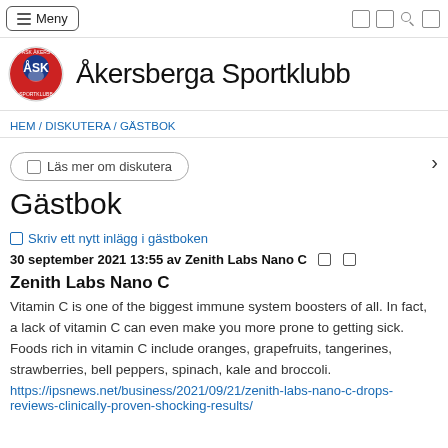Meny
Åkersberga Sportklubb
HEM / DISKUTERA / GÄSTBOK
Läs mer om diskutera
Gästbok
Skriv ett nytt inlägg i gästboken
30 september 2021 13:55 av Zenith Labs Nano C
Zenith Labs Nano C
Vitamin C is one of the biggest immune system boosters of all. In fact, a lack of vitamin C can even make you more prone to getting sick. Foods rich in vitamin C include oranges, grapefruits, tangerines, strawberries, bell peppers, spinach, kale and broccoli.
https://ipsnews.net/business/2021/09/21/zenith-labs-nano-c-drops-reviews-clinically-proven-shocking-results/